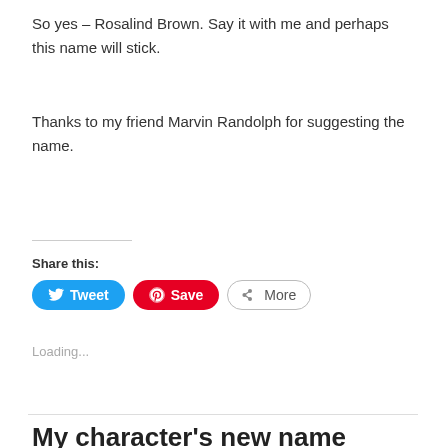So yes – Rosalind Brown. Say it with me and perhaps this name will stick.
Thanks to my friend Marvin Randolph for suggesting the name.
Share this:
[Figure (infographic): Social share buttons: Tweet (blue), Save (red/Pinterest), More (outline)]
Loading...
My character's new name